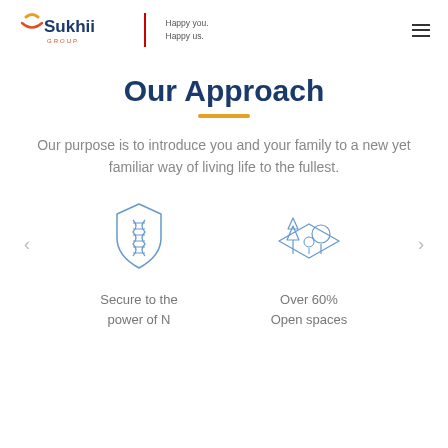[Figure (logo): Sukhii Group logo with orange and red icon, tagline 'Happy you. Happy us.']
Our Approach
Our purpose is to introduce you and your family to a new yet familiar way of living life to the fullest.
[Figure (illustration): Icon of a DNA/shield symbol representing 'Secure to the power of N']
Secure to the power of N
[Figure (illustration): Icon of trees and open landscape representing 'Over 60% Open spaces']
Over 60% Open spaces